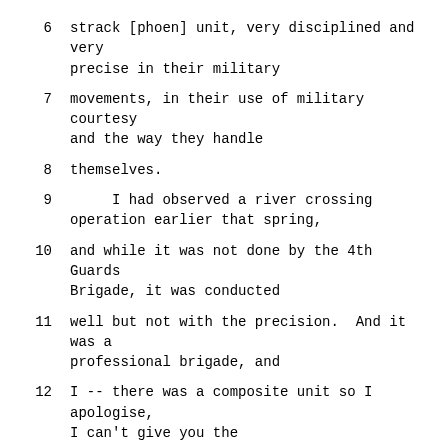6    strack [phoen] unit, very disciplined and very precise in their military
7    movements, in their use of military courtesy and the way they handle
8    themselves.
9         I had observed a river crossing operation earlier that spring,
10    and while it was not done by the 4th Guards Brigade, it was conducted
11    well but not with the precision.  And it was a professional brigade, and
12    I -- there was a composite unit so I apologise, I can't give you the